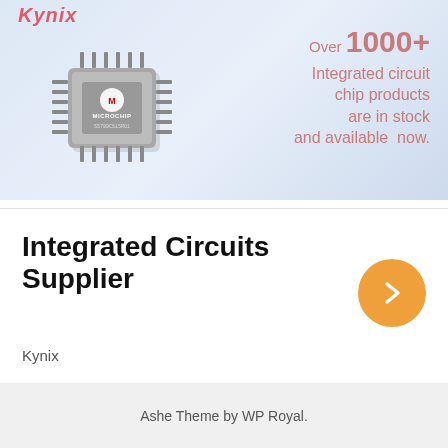[Figure (infographic): Light blue banner background with a Microchip-branded IC chip image on the left and promotional text on the right reading 'Over 1000+ Integrated circuit chip products are in stock and available now.' with a pink/rose color scheme. The Kynix logo appears in the top-left corner in italic red/pink text.]
Integrated Circuits Supplier
Kynix
Ashe Theme by WP Royal.